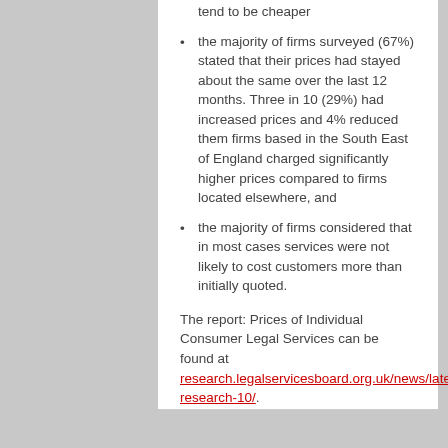tend to be cheaper
the majority of firms surveyed (67%) stated that their prices had stayed about the same over the last 12 months. Three in 10 (29%) had increased prices and 4% reduced them firms based in the South East of England charged significantly higher prices compared to firms located elsewhere, and
the majority of firms considered that in most cases services were not likely to cost customers more than initially quoted.
The report: Prices of Individual Consumer Legal Services can be found at research.legalservicesboard.org.uk/news/latest-research-10/.